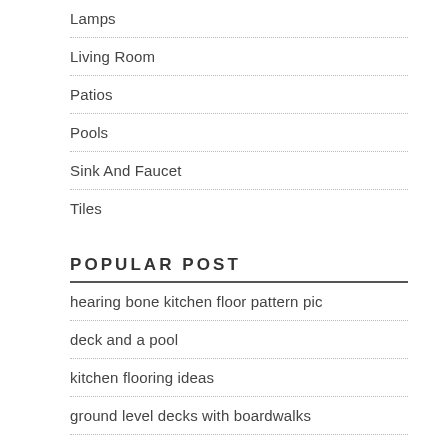Lamps
Living Room
Patios
Pools
Sink And Faucet
Tiles
POPULAR POST
hearing bone kitchen floor pattern pic
deck and a pool
kitchen flooring ideas
ground level decks with boardwalks
Stamped Patio Design Photos